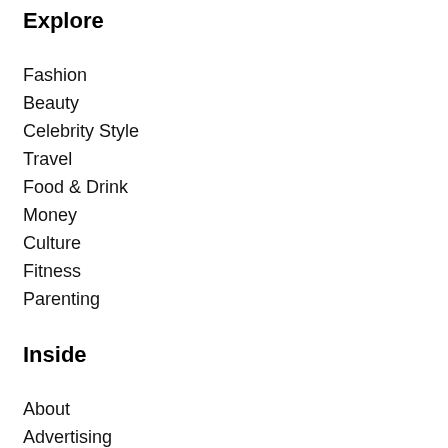Explore
Fashion
Beauty
Celebrity Style
Travel
Food & Drink
Money
Culture
Fitness
Parenting
Inside
About
Advertising
Contact